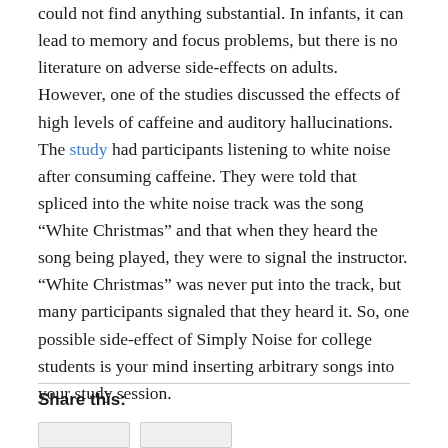could not find anything substantial. In infants, it can lead to memory and focus problems, but there is no literature on adverse side-effects on adults. However, one of the studies discussed the effects of high levels of caffeine and auditory hallucinations. The study had participants listening to white noise after consuming caffeine. They were told that spliced into the white noise track was the song “White Christmas” and that when they heard the song being played, they were to signal the instructor. “White Christmas” was never put into the track, but many participants signaled that they heard it. So, one possible side-effect of Simply Noise for college students is your mind inserting arbitrary songs into your study session.
Share this: